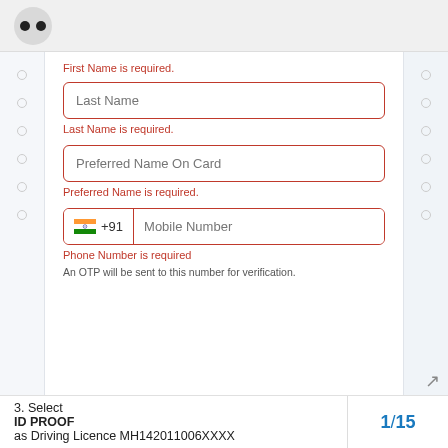[Figure (screenshot): App header bar with two circular dot icons on grey background]
First Name is required.
[Figure (screenshot): Form input field with placeholder text 'Last Name', red border]
Last Name is required.
[Figure (screenshot): Form input field with placeholder text 'Preferred Name On Card', red border]
Preferred Name is required.
[Figure (screenshot): Phone number input with India flag, +91 country code, and 'Mobile Number' placeholder, red border]
Phone Number is required
An OTP will be sent to this number for verification.
3. Select ID PROOF as Driving Licence MH142011006XXXX
1 / 15